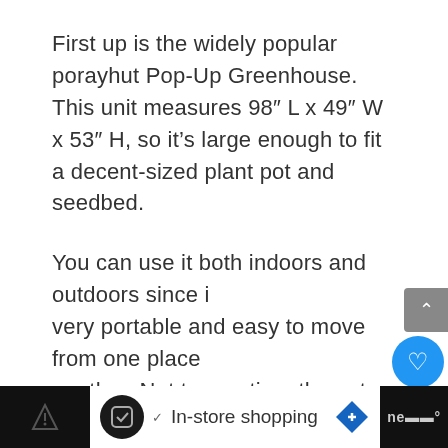First up is the widely popular porayhut Pop-Up Greenhouse. This unit measures 98″ L x 49″ W x 53″ H, so it’s large enough to fit a decent-sized plant pot and seedbed.
You can use it both indoors and outdoors since it’s very portable and easy to move from one place to another. Not to mention, the setup process is foolproof thanks to the pop-up/collapsible mechanism.